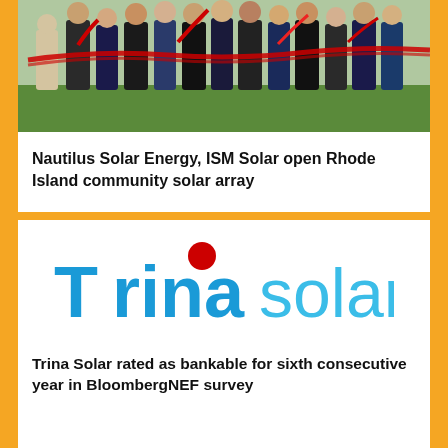[Figure (photo): Group of people standing outdoors holding red ribbon at a ribbon-cutting ceremony, dressed in business and casual attire, on a grass field]
Nautilus Solar Energy, ISM Solar open Rhode Island community solar array
[Figure (logo): Trina Solar logo: blue stylized text 'Trina' with red dot above the 'i', followed by 'solar' in lighter blue]
Trina Solar rated as bankable for sixth consecutive year in BloombergNEF survey